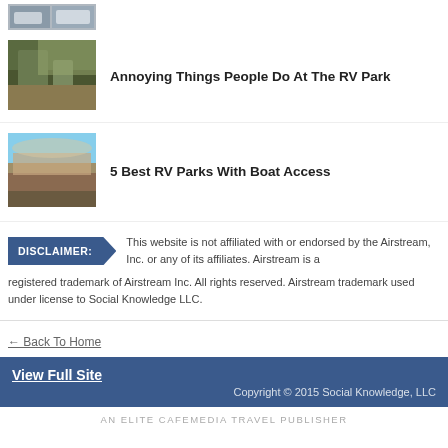[Figure (photo): Partial thumbnail of an RV/vehicles at top]
[Figure (photo): Thumbnail of muddy riverbank/forest scene for article about annoying things at RV park]
Annoying Things People Do At The RV Park
[Figure (photo): Thumbnail of lake/reservoir with mountains for article about RV parks with boat access]
5 Best RV Parks With Boat Access
DISCLAIMER: This website is not affiliated with or endorsed by the Airstream, Inc. or any of its affiliates. Airstream is a registered trademark of Airstream Inc. All rights reserved. Airstream trademark used under license to Social Knowledge LLC.
← Back To Home
View Full Site
Copyright © 2015 Social Knowledge, LLC
AN ELITE CAFEMEDIA TRAVEL PUBLISHER